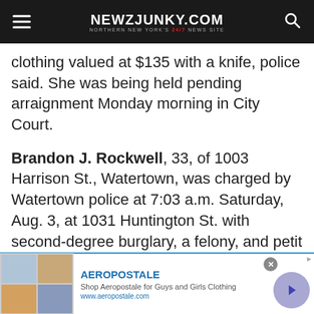NEWZJUNKY.COM — NORTHERN NEW YORK'S 24/7 NEWS SITE
clothing valued at $135 with a knife, police said. She was being held pending arraignment Monday morning in City Court.
Brandon J. Rockwell, 33, of 1003 Harrison St., Watertown, was charged by Watertown police at 7:03 a.m. Saturday, Aug. 3, at 1031 Huntington St. with second-degree burglary, a felony, and petit larceny, a misdemeanor. He is accused of unlawfully entering the residence of 1031 Huntington St. and consumed a bottle of Dr. P...
[Figure (screenshot): Aeropostale advertisement banner with clothing images, brand name, tagline 'Shop Aeropostale for Guys and Girls Clothing', URL www.aeropostale.com, and a navigation arrow button]